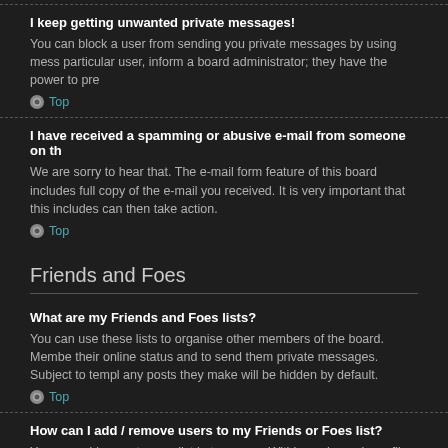I keep getting unwanted private messages!
You can block a user from sending you private messages by using mess particular user, inform a board administrator; they have the power to pre
Top
I have received a spamming or abusive e-mail from someone on th
We are sorry to hear that. The e-mail form feature of this board includes full copy of the e-mail you received. It is very important that this includes can then take action.
Top
Friends and Foes
What are my Friends and Foes lists?
You can use these lists to organise other members of the board. Membe their online status and to send them private messages. Subject to templ any posts they make will be hidden by default.
Top
How can I add / remove users to my Friends or Foes list?
You can add users to your list in two ways. Within each user's profile, th Panel, you can directly add users by entering their member name. You